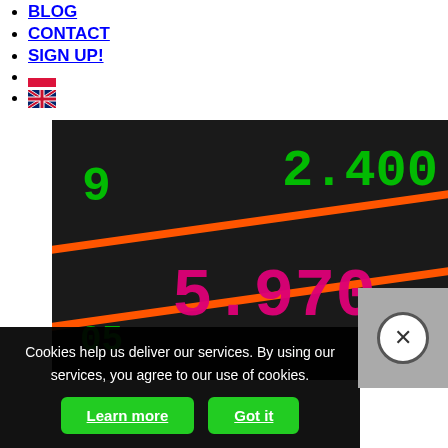BLOG
CONTACT
SIGN UP!
[Polish flag icon]
[UK flag icon]
[Figure (photo): Stock market ticker board showing glowing digits in green and pink/red on a dark background. Visible numbers include 2,400 (green, top right) and 5.970 (pink/magenta, center-bottom). Orange diagonal lines separate rows of data.]
Cookies help us deliver our services. By using our services, you agree to our use of cookies.
Learn more
Got it